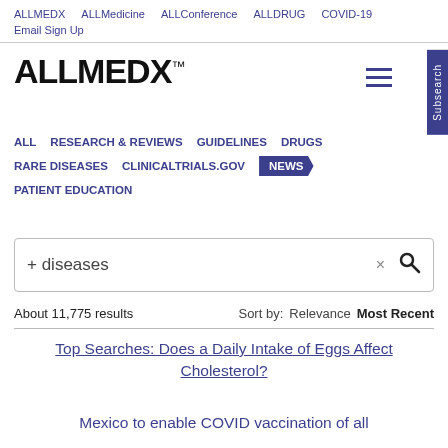ALLMEDX  ALLMedicine  ALLConference  ALLDRUG  COVID-19  Email Sign Up
[Figure (logo): ALLMEDX logo with trademark symbol]
ALL  RESEARCH & REVIEWS  GUIDELINES  DRUGS  RARE DISEASES  CLINICALTRIALS.GOV  NEWS  PATIENT EDUCATION
+ diseases  ×  (search icon)
About 11,775 results    Sort by:  Relevance  Most Recent
Top Searches: Does a Daily Intake of Eggs Affect Cholesterol?
Mexico to enable COVID vaccination of all